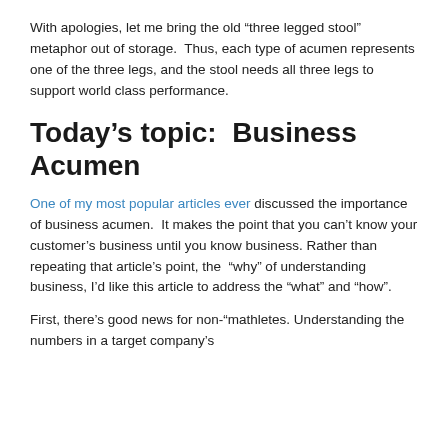With apologies, let me bring the old “three legged stool” metaphor out of storage.  Thus, each type of acumen represents one of the three legs, and the stool needs all three legs to support world class performance.
Today’s topic:  Business Acumen
One of my most popular articles ever discussed the importance of business acumen.  It makes the point that you can’t know your customer’s business until you know business. Rather than repeating that article’s point, the “why” of understanding business, I’d like this article to address the “what” and “how”.
First, there’s good news for non-“mathletes. Understanding the numbers in a target company’s